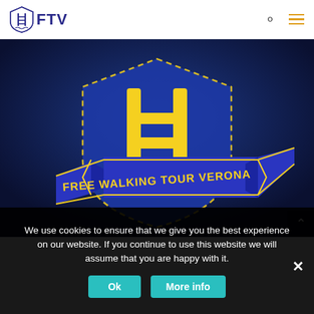[Figure (logo): FTV (Free Tour Verona) website header with shield logo and FTV text, search icon, and hamburger menu icon]
[Figure (illustration): Free Walking Tour Verona logo: dark blue background with large yellow ladder/bridge symbol inside a dashed shield shape, banner ribbon reading FREE WALKING TOUR VERONA in yellow on blue ribbon]
We use cookies to ensure that we give you the best experience on our website. If you continue to use this website we will assume that you are happy with it.
Ok
More info